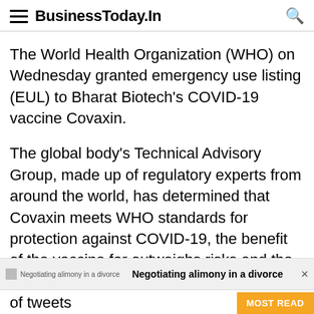BusinessToday.In
The World Health Organization (WHO) on Wednesday granted emergency use listing (EUL) to Bharat Biotech's COVID-19 vaccine Covaxin.
The global body's Technical Advisory Group, made up of regulatory experts from around the world, has determined that Covaxin meets WHO standards for protection against COVID-19, the benefit of the vaccine far outweighs risks and the vaccine can be used, WHO said in a series of tweets
Negotiating alimony in a divorce